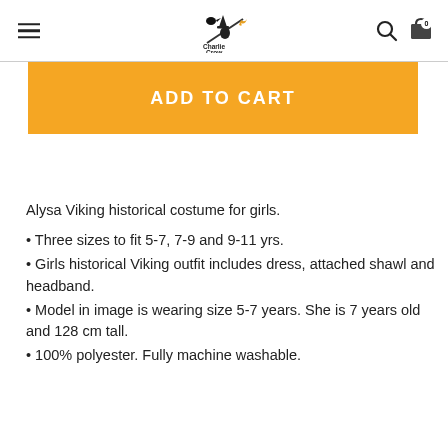Charlie Crow
ADD TO CART
Alysa Viking historical costume for girls.
Three sizes to fit 5-7, 7-9 and 9-11 yrs.
Girls historical Viking outfit includes dress, attached shawl and headband.
Model in image is wearing size 5-7 years. She is 7 years old and 128 cm tall.
100% polyester. Fully machine washable.